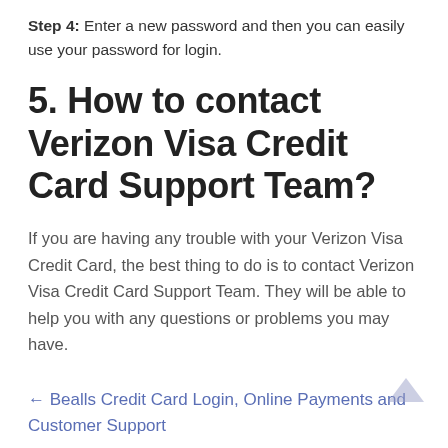Step 4: Enter a new password and then you can easily use your password for login.
5. How to contact Verizon Visa Credit Card Support Team?
If you are having any trouble with your Verizon Visa Credit Card, the best thing to do is to contact Verizon Visa Credit Card Support Team. They will be able to help you with any questions or problems you may have.
← Bealls Credit Card Login, Online Payments and Customer Support